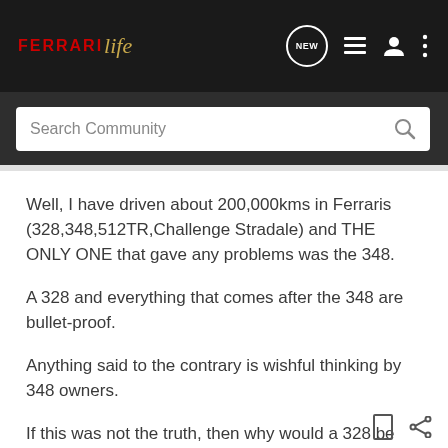FerrariLife — navigation bar with logo, NEW button, list icon, user icon, menu icon
Search Community
Well, I have driven about 200,000kms in Ferraris (328,348,512TR,Challenge Stradale) and THE ONLY ONE that gave any problems was the 348.

A 328 and everything that comes after the 348 are bullet-proof.

Anything said to the contrary is wishful thinking by 348 owners.

If this was not the truth, then why would a 328 be worht more than a 348 even though they made more 328s?